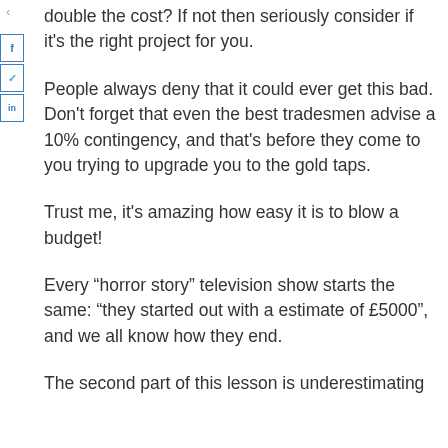double the cost? If not then seriously consider if it's the right project for you.
People always deny that it could ever get this bad. Don't forget that even the best tradesmen advise a 10% contingency, and that's before they come to you trying to upgrade you to the gold taps.
Trust me, it's amazing how easy it is to blow a budget!
Every “horror story” television show starts the same: “they started out with a estimate of £5000”, and we all know how they end.
The second part of this lesson is underestimating